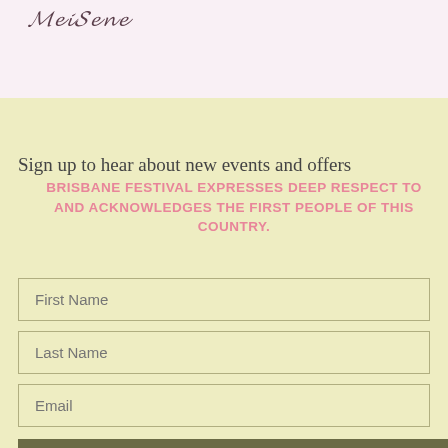[Figure (logo): Decorative script/cursive logo text at top left on pink/lavender background]
Sign up to hear about new events and offers
BRISBANE FESTIVAL EXPRESSES DEEP RESPECT TO AND ACKNOWLEDGES THE FIRST PEOPLE OF THIS COUNTRY.
First Name
Last Name
Email
SUBSCRIBE